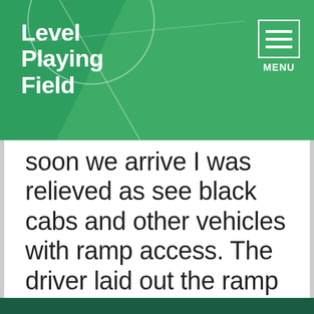Level Playing Field
soon we arrive I was relieved as see black cabs and other vehicles with ramp access. The driver laid out the ramp for me my dad was going
This website uses cookies to help us understand the way visitors use our website. We can't identify you with them and we don't share the data with anyone else. Find out more in our privacy policy.
Accept cookies
Reject cookies